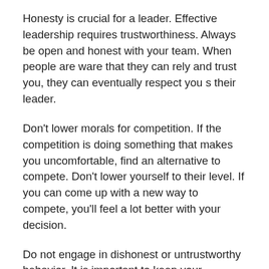Honesty is crucial for a leader. Effective leadership requires trustworthiness. Always be open and honest with your team. When people are ware that they can rely and trust you, they can eventually respect you s their leader.
Don't lower morals for competition. If the competition is doing something that makes you uncomfortable, find an alternative to compete. Don't lower yourself to their level. If you can come up with a new way to compete, you'll feel a lot better with your decision.
Do not engage in dishonest or untrustworthy behavior. It is important to keep your promises if you want to be trusted as a leader. When you promise great results, you must provide them.
Admit when you make a bad decision. Even the greatest